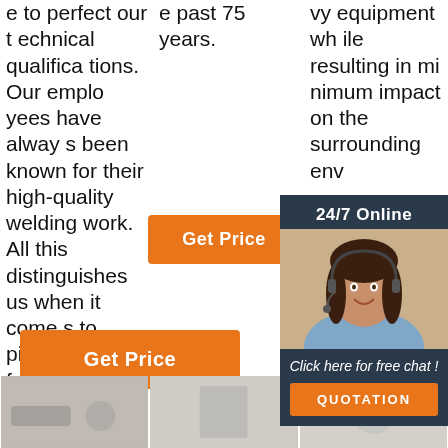e to perfect our technical qualifications. Our employees have always been known for their high-quality welding work. All this distinguishes us when it comes to piping systems for a ...
e past 75 years.
[Figure (illustration): Orange 'Get Price' button]
vy equipment while resulting in minimum impact on the surrounding env
[Figure (infographic): 24/7 Online chat widget with customer service representative photo, 'Click here for free chat!' text, and QUOTATION button]
[Figure (illustration): Orange 'Get Price' button (bottom left)]
[Figure (illustration): Orange 'G' button (partial)]
[Figure (illustration): TOP icon with orange dotted triangle and orange TOP text]
[Figure (photo): Product image placeholder bottom left]
[Figure (photo): Product image placeholder bottom center]
[Figure (photo): Product image placeholder bottom right]